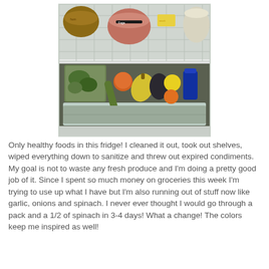[Figure (photo): Photo of the inside of a refrigerator showing a crisper drawer filled with fresh vegetables and fruits including leafy greens, squash, lemons, and other produce. The top shelf has containers including what appears to be hummus, yogurt, and condiments.]
Only healthy foods in this fridge! I cleaned it out, took out shelves, wiped everything down to sanitize and threw out expired condiments. My goal is not to waste any fresh produce and I'm doing a pretty good job of it. Since I spent so much money on groceries this week I'm trying to use up what I have but I'm also running out of stuff now like garlic, onions and spinach. I never ever thought I would go through a pack and a 1/2 of spinach in 3-4 days! What a change! The colors keep me inspired as well!